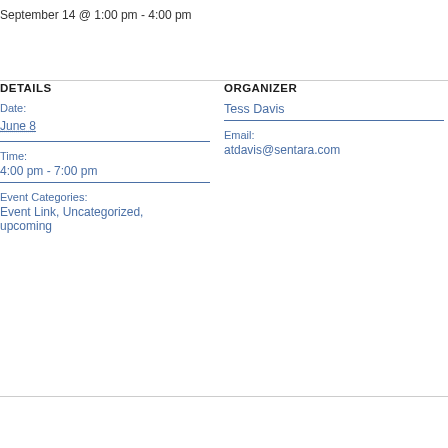September 14 @ 1:00 pm - 4:00 pm
DETAILS
Date:
June 8
Time:
4:00 pm - 7:00 pm
Event Categories:
Event Link, Uncategorized, upcoming
ORGANIZER
Tess Davis
Email:
atdavis@sentara.com